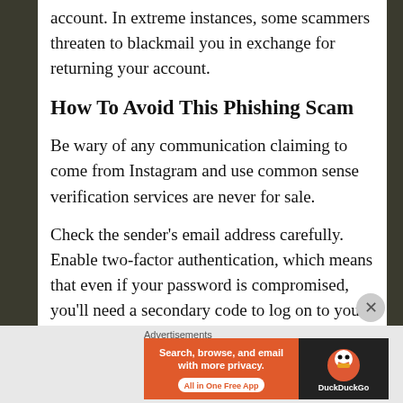account. In extreme instances, some scammers threaten to blackmail you in exchange for returning your account.
How To Avoid This Phishing Scam
Be wary of any communication claiming to come from Instagram and use common sense verification services are never for sale.
Check the sender's email address carefully. Enable two-factor authentication, which means that even if your password is compromised, you'll need a secondary code to log on to your account for an
Advertisements
[Figure (other): DuckDuckGo advertisement banner: orange left side with text 'Search, browse, and email with more privacy. All in One Free App', dark right side with DuckDuckGo logo.]